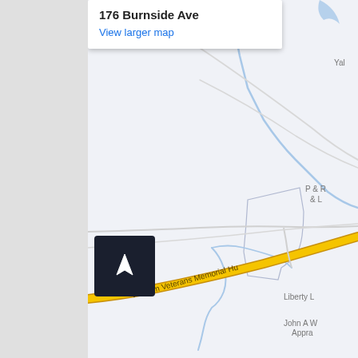[Figure (map): Google Maps screenshot showing the area around 176 Burnside Ave. The map displays roads including Vietnam Veterans Memorial Highway (a yellow road running diagonally), various unnamed local roads, blue water features/streams, property outlines, and partial business names including 'P & R & L', 'Liberty L', 'John A W Appra', and 'Yal'. A white info card overlay at the top shows the address '176 Burnside Ave' with a 'View larger map' link. A dark navigation/compass button with an upward arrow appears on the left side.]